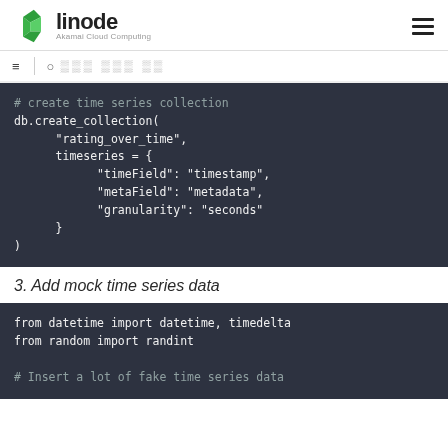linode — Akamai Cloud Computing
[Figure (other): Code block showing db.create_collection with timeseries fields: timeField, metaField, granularity]
3. Add mock time series data
[Figure (other): Code block showing from datetime import datetime, timedelta; from random import randint; # Insert a lot of fake time series data]